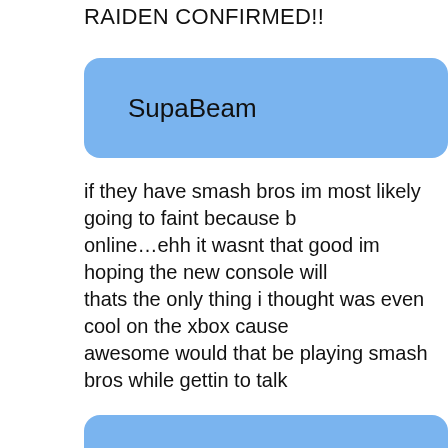RAIDEN CONFIRMED!!
SupaBeam
if they have smash bros im most likely going to faint because b...online…ehh it wasnt that good im hoping the new console will...thats the only thing i thought was even cool on the xbox cause...awesome would that be playing smash bros while gettin to talk...that we got some old friends that live in arkansaw *i think thats...to play it all the f*ckin time it would feel like a blast from the pa...
D Rad
I can understand with all the hype why so many people (includ...There have been countless 'leaks' as the days for E3 draw clos...
But after thinking closely about it, i'm throwing my grain of salt...ESRB user, which is a good excuse to be able to see the E3 li...new console will be called the Current, and user who leaked th...